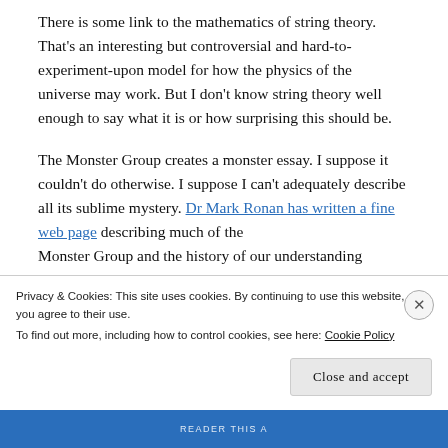There is some link to the mathematics of string theory. That's an interesting but controversial and hard-to-experiment-upon model for how the physics of the universe may work. But I don't know string theory well enough to say what it is or how surprising this should be.
The Monster Group creates a monster essay. I suppose it couldn't do otherwise. I suppose I can't adequately describe all its sublime mystery. Dr Mark Ronan has written a fine web page describing much of the Monster Group and the history of our understanding
Privacy & Cookies: This site uses cookies. By continuing to use this website, you agree to their use.
To find out more, including how to control cookies, see here: Cookie Policy